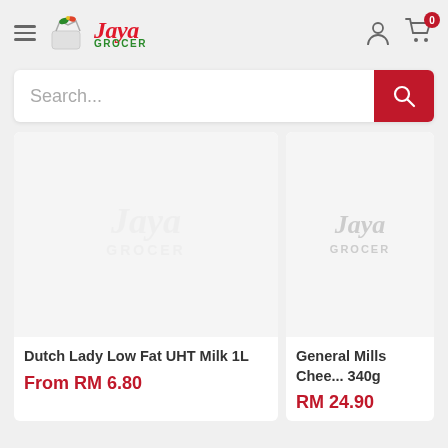Jaya Grocer
Search...
[Figure (screenshot): Product image placeholder with Jaya Grocer watermark for Dutch Lady Low Fat UHT Milk 1L]
Dutch Lady Low Fat UHT Milk 1L
From RM 6.80
[Figure (screenshot): Product image placeholder with Jaya Grocer watermark for General Mills Chee... 340g]
General Mills Chee... 340g
RM 24.90